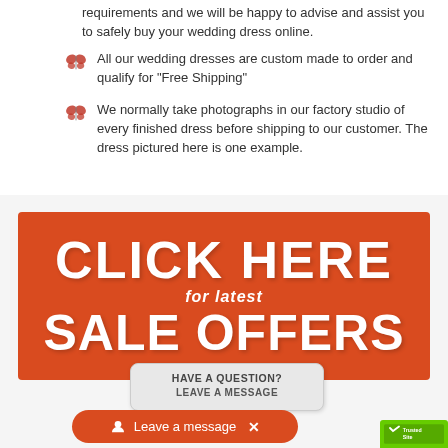requirements and we will be happy to advise and assist you to safely buy your wedding dress online.
All our wedding dresses are custom made to order and qualify for "Free Shipping"
We normally take photographs in our factory studio of every finished dress before shipping to our customer. The dress pictured here is one example.
[Figure (infographic): Red banner with white bold text reading CLICK HERE for latest SALE OFFERS]
[Figure (screenshot): Chat popup: HAVE A QUESTION? LEAVE A MESSAGE]
[Figure (screenshot): Orange Leave a message button with X close icon]
[Figure (logo): TrustedSite green badge in bottom right corner]